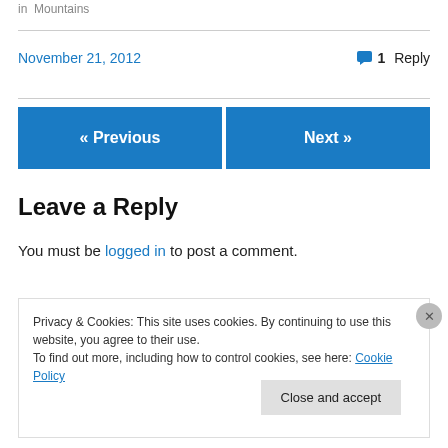in  Mountains
November 21, 2012
1 Reply
« Previous
Next »
Leave a Reply
You must be logged in to post a comment.
Privacy & Cookies: This site uses cookies. By continuing to use this website, you agree to their use.
To find out more, including how to control cookies, see here: Cookie Policy
Close and accept